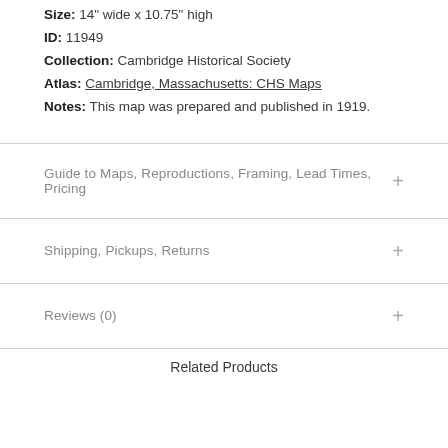Size: 14" wide x 10.75" high
ID: 11949
Collection: Cambridge Historical Society
Atlas: Cambridge, Massachusetts: CHS Maps
Notes: This map was prepared and published in 1919.
Guide to Maps, Reproductions, Framing, Lead Times, Pricing
Shipping, Pickups, Returns
Reviews (0)
Related Products